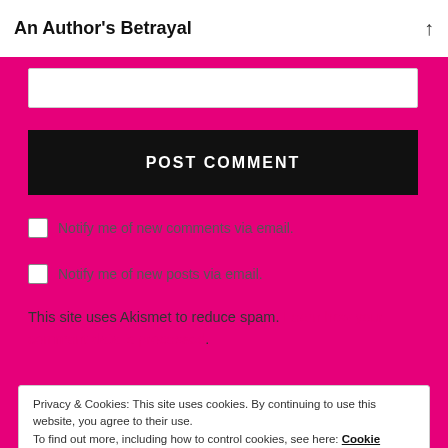An Author's Betrayal
[Figure (screenshot): Text input field (empty)]
POST COMMENT
Notify me of new comments via email.
Notify me of new posts via email.
This site uses Akismet to reduce spam. Learn how your comment data is processed.
Privacy & Cookies: This site uses cookies. By continuing to use this website, you agree to their use. To find out more, including how to control cookies, see here: Cookie Policy
Close and accept